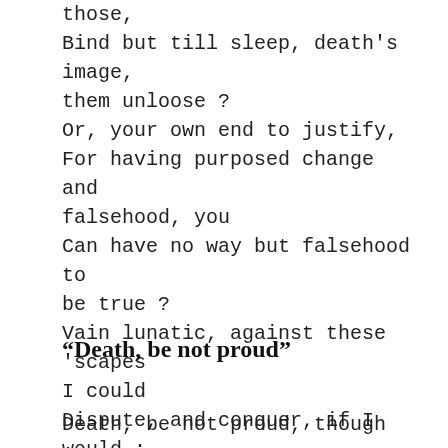those,
Bind but till sleep, death's image, them unloose ?
Or, your own end to justify,
For having purposed change and falsehood, you
Can have no way but falsehood to be true ?
Vain lunatic, against these 'scapes I could
Dispute, and conquer, if I would ;
Which I abstain to do,
For by to-morrow I may think so too.
“Death, be not proud”
Death, be not proud, though some